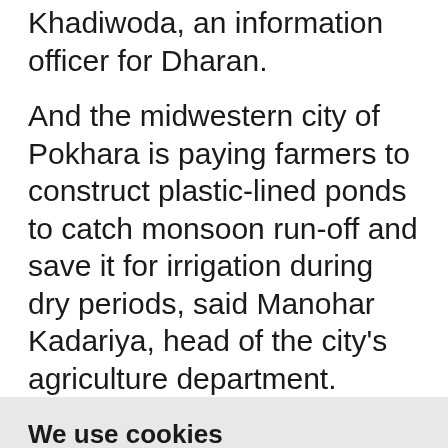Khadiwoda, an information officer for Dharan.
And the midwestern city of Pokhara is paying farmers to construct plastic-lined ponds to catch monsoon run-off and save it for irrigation during dry periods, said Manohar Kadariya, head of the city's agriculture department.
We use cookies
We use cookies and other tracking technologies to improve your browsing experience on our website, to show you personalized content and targeted ads, to analyze our website traffic, and to understand where our visitors are coming from.